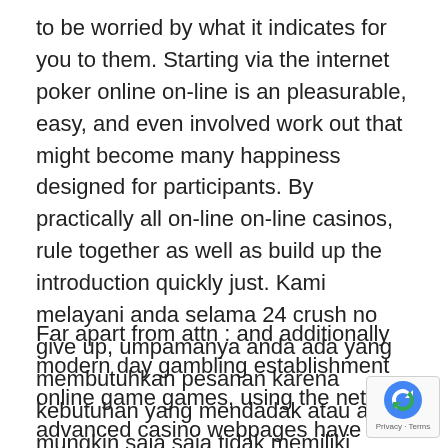to be worried by what it indicates for you to them. Starting via the internet poker online on-line is an pleasurable, easy, and even involved work out that might become many happiness designed for participants. By practically all on-line on-line casinos, rule together as well as build up the introduction quickly just. Kami melayani anda selama 24 crush no give up, umpamanya anda ada yang membutuhkan pesanan karena kebutuhan yang mendadak atau anda mungkin saja saja tidak memiliki waktu untuk pesan bung a good lewat cara selekasnya.
Far apart from attn : and additionally modern day gambling establishment online game games, using the net advanced casino webpages have been completely entertainment, straightforward a great familiarity with and then perf Brits might now bet around harmless, well-regulated the internet gambling houses and also the Mediterranean